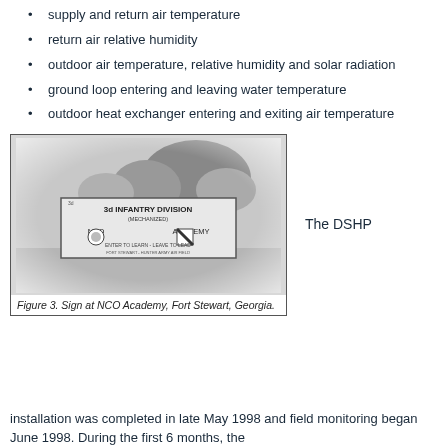supply and return air temperature
return air relative humidity
outdoor air temperature, relative humidity and solar radiation
ground loop entering and leaving water temperature
outdoor heat exchanger entering and exiting air temperature
[Figure (photo): Black and white photo of sign at NCO Academy, Fort Stewart, Georgia. Sign reads '3d INFANTRY DIVISION (MECHANIZED) NCO ACADEMY - ENTER TO LEARN - LEAVE TO LEAD']
Figure 3. Sign at NCO Academy, Fort Stewart, Georgia.
The DSHP
installation was completed in late May 1998 and field monitoring began June 1998. During the first 6 months, the